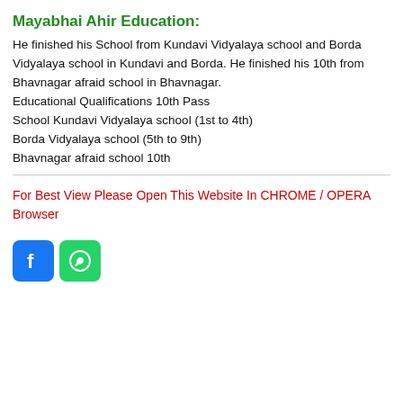Mayabhai Ahir Education:
He finished his School from Kundavi Vidyalaya school and Borda Vidyalaya school in Kundavi and Borda. He finished his 10th from Bhavnagar afraid school in Bhavnagar. Educational Qualifications 10th Pass
School Kundavi Vidyalaya school (1st to 4th)
Borda Vidyalaya school (5th to 9th)
Bhavnagar afraid school 10th
For Best View Please Open This Website In CHROME / OPERA Browser
[Figure (logo): Facebook and WhatsApp social media icons]